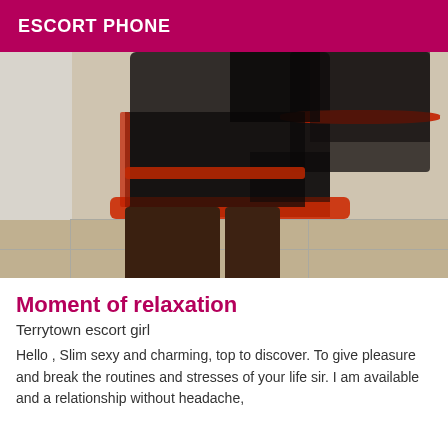ESCORT PHONE
[Figure (photo): A person wearing black sheer lingerie with red ruffled trim, standing indoors on tiled floor against a light-colored wall.]
Moment of relaxation
Terrytown escort girl
Hello , Slim sexy and charming, top to discover. To give pleasure and break the routines and stresses of your life sir. I am available and a relationship without headache,